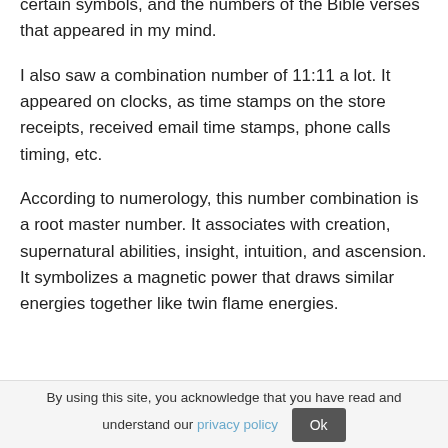certain symbols, and the numbers of the Bible verses that appeared in my mind.
I also saw a combination number of 11:11 a lot. It appeared on clocks, as time stamps on the store receipts, received email time stamps, phone calls timing, etc.
According to numerology, this number combination is a root master number. It associates with creation, supernatural abilities, insight, intuition, and ascension. It symbolizes a magnetic power that draws similar energies together like twin flame energies.
By using this site, you acknowledge that you have read and understand our privacy policy  Ok